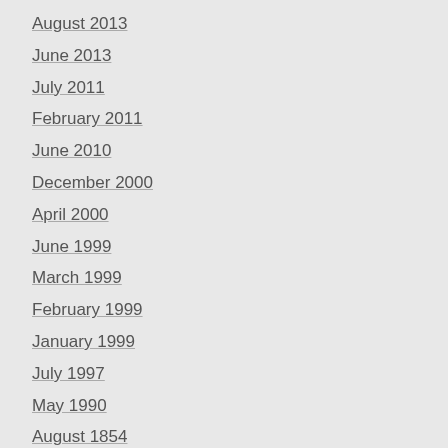August 2013
June 2013
July 2011
February 2011
June 2010
December 2000
April 2000
June 1999
March 1999
February 1999
January 1999
July 1997
May 1990
August 1854